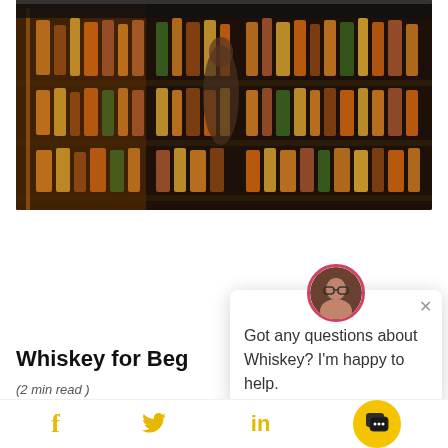Related Articles
[Figure (photo): A bar shelf with many bottles of whiskey arranged in rows, dimly lit with amber lighting.]
Whiskey for Begi...
(2 min read )
Got any questions about Whiskey? I'm happy to help.
[Figure (infographic): Social media sharing icons: Facebook (f), Twitter bird, LinkedIn (in) in gold/yellow color, and a yellow circular chat widget button with chat icon.]